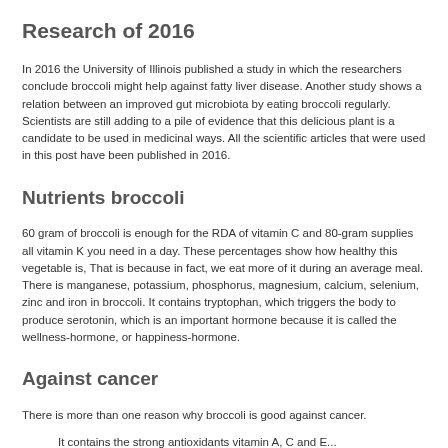Research of 2016
In 2016 the University of Illinois published a study in which the researchers conclude broccoli might help against fatty liver disease. Another study shows a relation between an improved gut microbiota by eating broccoli regularly. Scientists are still adding to a pile of evidence that this delicious plant is a candidate to be used in medicinal ways. All the scientific articles that were used in this post have been published in 2016.
Nutrients broccoli
60 gram of broccoli is enough for the RDA of vitamin C and 80-gram supplies all vitamin K you need in a day. These percentages show how healthy this vegetable is, That is because in fact, we eat more of it during an average meal. There is manganese, potassium, phosphorus, magnesium, calcium, selenium, zinc and iron in broccoli. It contains tryptophan, which triggers the body to produce serotonin, which is an important hormone because it is called the wellness-hormone, or happiness-hormone.
Against cancer
There is more than one reason why broccoli is good against cancer.
It contains the strong antioxidants vitamin A, C and E...